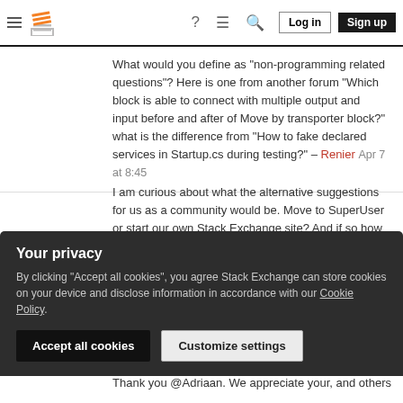Stack Exchange navigation bar with hamburger menu, logo, help icon, chat icon, search icon, Log in button, and Sign up button
What would you define as "non-programming related questions"? Here is one from another forum "Which block is able to connect with multiple output and input before and after of Move by transporter block?" what is the difference from "How to fake declared services in Startup.cs during testing?" – Renier Apr 7 at 8:45
I am curious about what the alternative suggestions for us as a community would be. Move to SuperUser or start our own Stack Exchange site? And if so how can we ensure our wealth of knowledge for programmers creating simulation models in AnyLogic is not lost. Can we export or migrate our existing questions? Apologies if this is deemed to require a separate meta discussion
Your privacy
By clicking "Accept all cookies", you agree Stack Exchange can store cookies on your device and disclose information in accordance with our Cookie Policy.
Accept all cookies
Customize settings
Thank you @Adriaan. We appreciate your, and others